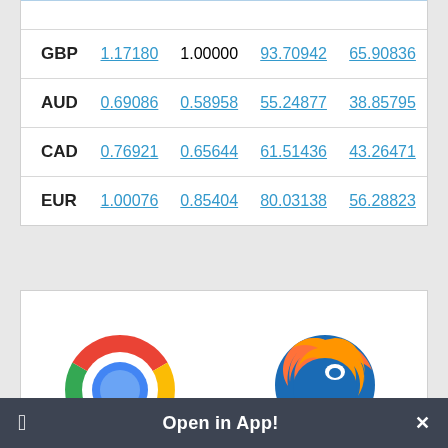| Currency | Col1 | Col2 | Col3 | Col4 |
| --- | --- | --- | --- | --- |
| GBP | 1.17180 | 1.00000 | 93.70942 | 65.90836 |
| AUD | 0.69086 | 0.58958 | 55.24877 | 38.85795 |
| CAD | 0.76921 | 0.65644 | 61.51436 | 43.26471 |
| EUR | 1.00076 | 0.85404 | 80.03138 | 56.28823 |
[Figure (logo): Google Chrome browser logo (circular multi-color icon with blue center)]
[Figure (logo): Mozilla Firefox browser logo (fox with blue globe)]
Open in App!